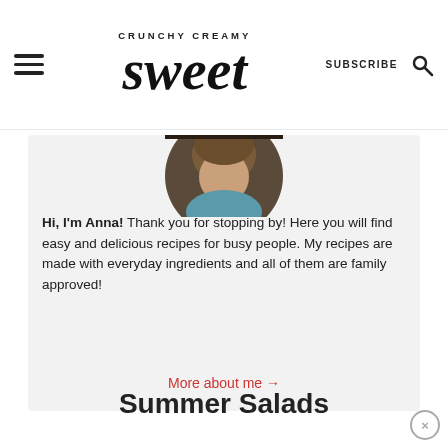CRUNCHY CREAMY sweet | SUBSCRIBE
[Figure (photo): Circular profile photo of Anna, partially cropped, showing top of head with teal/blue scarf, brown hair, against dark background]
Hi, I'm Anna! Thank you for stopping by! Here you will find easy and delicious recipes for busy people. My recipes are made with everyday ingredients and all of them are family approved!
More about me →
Summer Salads